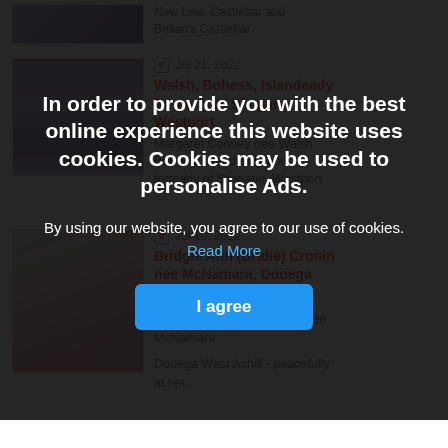New Line, Castlebar and Beltarra Castlebar
[Figure (photo): Partial portrait photo of a person, purple/dark toned clothing, partially cropped]
Jul 21, 2022
Walsh, Bohess, Islandeady formerly of Slingane, Westport
Margaret Cooney nee Walsh Bohess, Islandeady and formerly of Slingane, Westport -...
In order to provide you with the best online experience this website uses cookies. Cookies may be used to personalise Ads.
By using our website, you agree to our use of cookies. Read More
I agree
Jul 10, 2022
Bridgie Ann (Bridie) Cronin nee McNamara, Dooega West Achill
[Figure (photo): Portrait photo of an elderly woman with white/grey hair wearing a pink top, outdoor background]
Bridgie Ann (Bridie) Cronin nee McNamara
Dooega West Achill - peacefully at her...